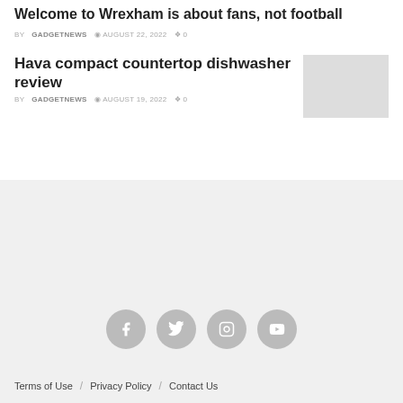Welcome to Wrexham is about fans, not football
BY GADGETNEWS  AUGUST 22, 2022  0
Hava compact countertop dishwasher review
BY GADGETNEWS  AUGUST 19, 2022  0
[Figure (other): Thumbnail image placeholder (grey rectangle)]
[Figure (other): Footer with social media icons: Facebook, Twitter, Instagram, YouTube on grey background]
Terms of Use / Privacy Policy / Contact Us